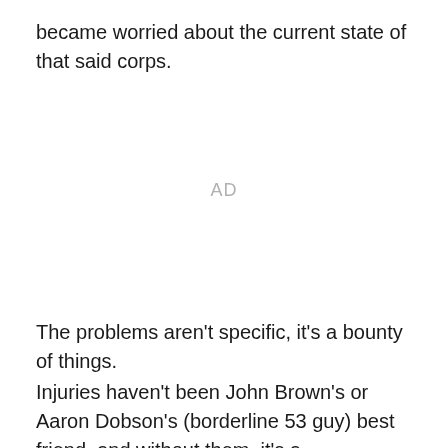became worried about the current state of that said corps.
[Figure (other): AD placeholder banner]
The problems aren't specific, it's a bounty of things.
Injuries haven't been John Brown's or Aaron Dobson's (borderline 53 guy) best friend, and without them, it's a